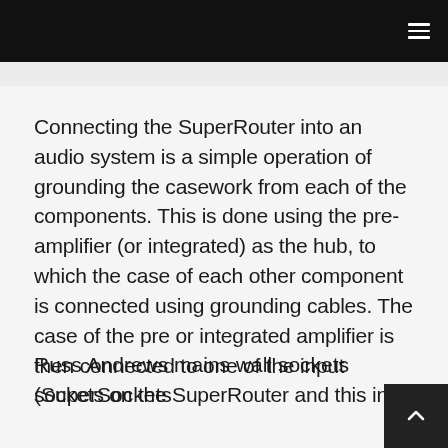≡
Connecting the SuperRouter into an audio system is a simple operation of grounding the casework from each of the components. This is done using the pre-amplifier (or integrated) as the hub, to which the case of each other component is connected using grounding cables. The case of the pre or integrated amplifier is then connected to one of the input sockets on the SuperRouter and this in turn is connected to an earth rod, which is the preferred method, or to the dedicated ground terminal on one of the Russ Andrews mains wall sockets (SuperSockets